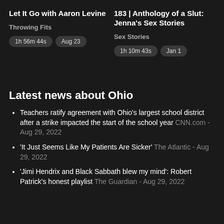Let It Go with Aaron Levine
Throwing Fits
1h 56m 44s   Aug 23
183 | Anthology of a Slut: Jenna's Sex Stories
Sex Stories
1h 10m 43s   Jan 1
Ep. "Ac Any
Law36 Analy Legal
41
Latest news about Ohio
Teachers ratify agreement with Ohio's largest school district after a strike impacted the start of the school year CNN.com - Aug 29, 2022
'It Just Seems Like My Patients Are Sicker' The Atlantic - Aug 29, 2022
'Jimi Hendrix and Black Sabbath blew my mind': Robert Patrick's honest playlist The Guardian - Aug 29, 2022
Ohio Democratic ... The P...